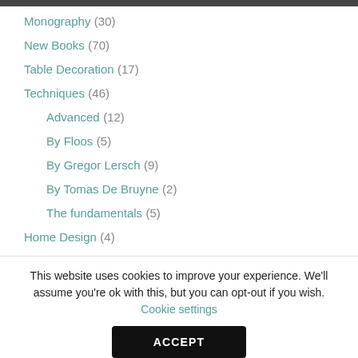Monography (30)
New Books (70)
Table Decoration (17)
Techniques (46)
Advanced (12)
By Floos (5)
By Gregor Lersch (9)
By Tomas De Bruyne (2)
The fundamentals (5)
Home Design (4)
This website uses cookies to improve your experience. We'll assume you're ok with this, but you can opt-out if you wish. Cookie settings
ACCEPT